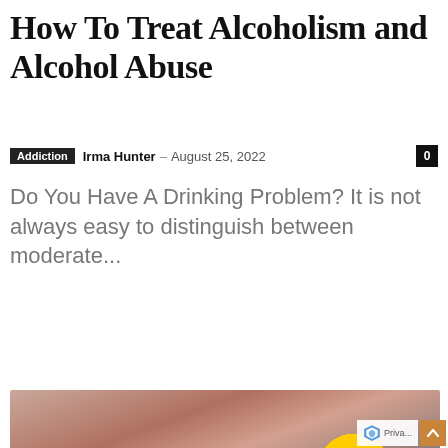How To Treat Alcoholism and Alcohol Abuse
Addiction  Irma Hunter  –  August 25, 2022  0
Do You Have A Drinking Problem? It is not always easy to distinguish between moderate...
Read more
[Figure (photo): Child playing with a colorful pop-it sensory toy in rainbow colors (orange, yellow, green, blue, purple, pink) against a dark background.]